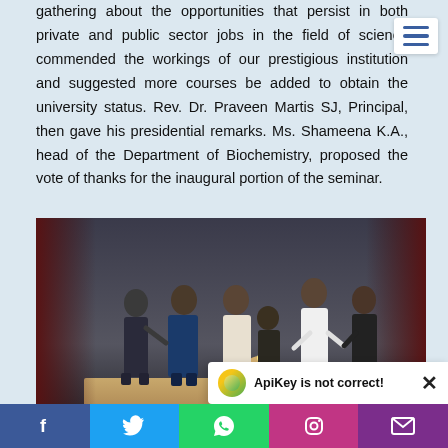gathering about the opportunities that persist in both private and public sector jobs in the field of science commended the workings of our prestigious institution and suggested more courses be added to obtain the university status. Rev. Dr. Praveen Martis SJ, Principal, then gave his presidential remarks. Ms. Shameena K.A., head of the Department of Biochemistry, proposed the vote of thanks for the inaugural portion of the seminar.
[Figure (photo): A photograph of a seminar event on stage. Several people including a person in white religious attire, others in formal dress, and a woman in a sari are gathered on stage near a lamp. A blue banner is visible in the background with text about the college and seminar.]
ApiKey is not correct! ×
Social sharing bar with Facebook, Twitter, WhatsApp, Instagram, and Email buttons